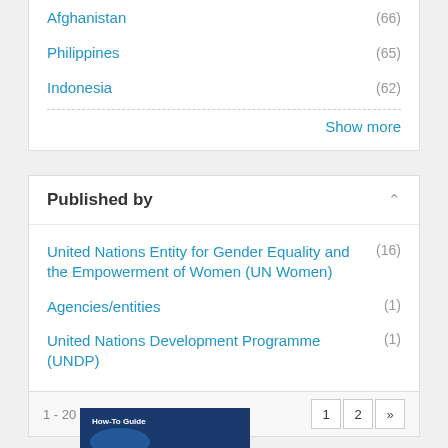Afghanistan (66)
Philippines (65)
Indonesia (62)
Show more
Published by
United Nations Entity for Gender Equality and the Empowerment of Women (UN Women) (16)
Agencies/entities (1)
United Nations Development Programme (UNDP) (1)
1 - 20 of 31 Results
[Figure (screenshot): Thumbnail of a document titled 'How-To Guide' with a dark blue cover]